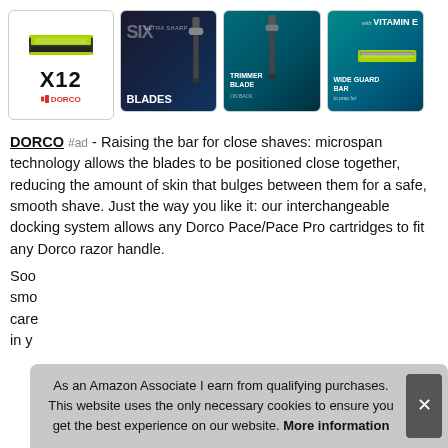[Figure (photo): Four product image cards in a row: (1) Dorco razor cartridge with X12 label and Dorco logo on white background; (2) Dark themed image with 'SIX ULTRA SHARP BLADES' text and razor; (3) Teal themed image with 'TRIMMER BLADE ON BACK' text and razor; (4) Teal themed image with 'WIDE GUARD BAR to prep for' text and razor, plus 'with VITAMIN E' label in top right]
DORCO #ad - Raising the bar for close shaves: microspan technology allows the blades to be positioned close together, reducing the amount of skin that bulges between them for a safe, smooth shave. Just the way you like it: our interchangeable docking system allows any Dorco Pace/Pace Pro cartridges to fit any Dorco razor handle.
Soo... smo... care... in y...
As an Amazon Associate I earn from qualifying purchases. This website uses the only necessary cookies to ensure you get the best experience on our website. More information